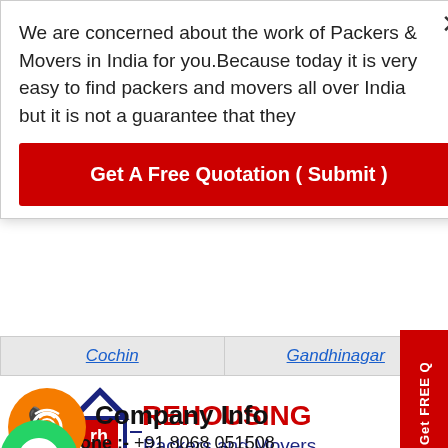We are concerned about the work of Packers & Movers in India for you.Because today it is very easy to find packers and movers all over India but it is not a guarantee that they
Get A Free Quotation ( Submit )
Cochin
Gandhinagar
Get FREE Q
[Figure (logo): REHOUSING Packers and Movers logo with house icon in blue and red]
Company Info
Phone :- +91 8068 051508
Mail :- Mail Now
Address :- Plot No. 07, Phase V, Udyog Vihar, Sector